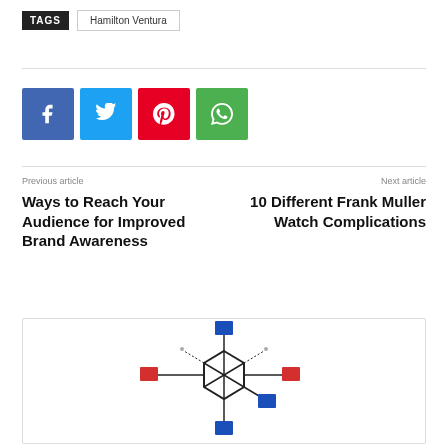TAGS  Hamilton Ventura
[Figure (infographic): Social share buttons: Facebook (blue), Twitter (cyan), Pinterest (red), WhatsApp (green)]
Previous article
Ways to Reach Your Audience for Improved Brand Awareness
Next article
10 Different Frank Muller Watch Complications
[Figure (illustration): Molecular/network diagram with blue and red squares connected by lines forming a hexagonal shape]